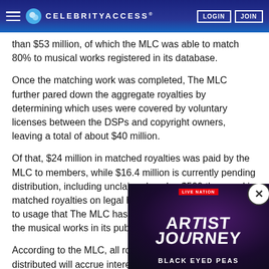CELEBRITY ACCESS
than $53 million, of which the MLC was able to match 80% to musical works registered in its database.
Once the matching work was completed, The MLC further pared down the aggregate royalties by determining which uses were covered by voluntary licenses between the DSPs and copyright owners, leaving a total of about $40 million.
Of that, $24 million in matched royalties was paid by the MLC to members, while $16.4 million is currently pending distribution, including unclaimed works; $500 thousand in matched royalties on legal hold; and ~ $11 million related to usage that The MLC has not yet been able to match to the musical works in its public database.
According to the MLC, all royalties that have not been distributed will accrue interest and The MLC will continue to work to reduce the amount of unmatched
[Figure (advertisement): Live Nation Artist Journey advertisement featuring Black Eyed Peas]